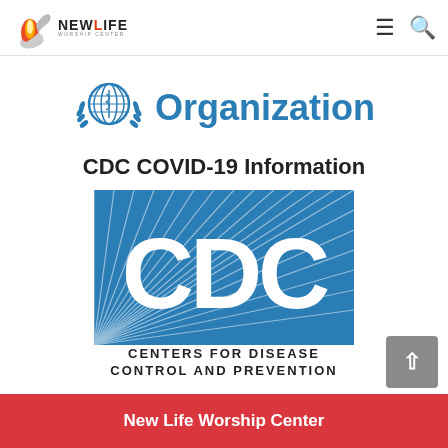New Life Worship Center — navigation bar with logo, menu icon, and search icon
[Figure (logo): World Health Organization logo (globe with olive branches) followed by the word 'Organization' in large blue text]
CDC COVID-19 Information
[Figure (logo): CDC logo — Centers for Disease Control and Prevention. Blue square with radiating white lines and large white letters 'CDC', with text below reading 'Centers for Disease Control and Prevention']
New Life Worship Center